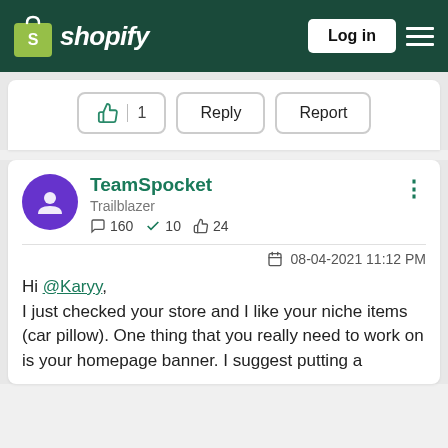[Figure (screenshot): Shopify community forum page screenshot showing navigation header with Shopify logo, Log in button, and hamburger menu]
👍 | 1   Reply   Report
TeamSpocket
Trailblazer
💬 160   ✓ 10   👍 24
08-04-2021 11:12 PM
Hi @Karyy,
I just checked your store and I like your niche items (car pillow).  One thing that you really need to work on is your homepage banner. I suggest putting a high quality image of your product along the...